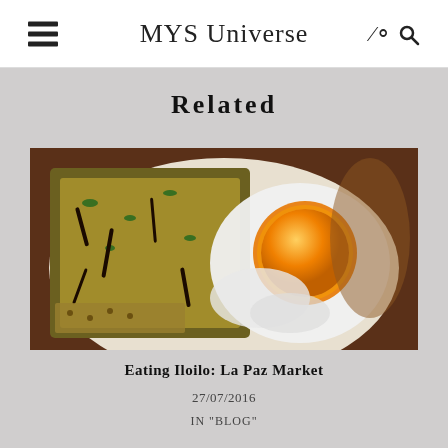MYS Universe
Related
[Figure (photo): Close-up photo of a Filipino dish in a white bowl, featuring a bright orange egg yolk on top of mixed ingredients including crispy bits, green vegetables, and dark strips of meat.]
Eating Iloilo: La Paz Market
27/07/2016
IN "BLOG"